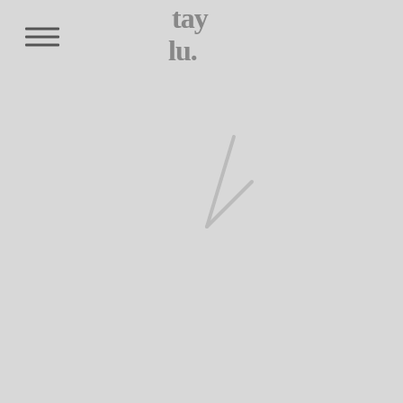[Figure (logo): Taylu brand logo in gray serif/display font reading 'tay lu.' stacked in two lines]
[Figure (illustration): A light gray diagonal checkmark or slash mark centered in the main body area below the header]